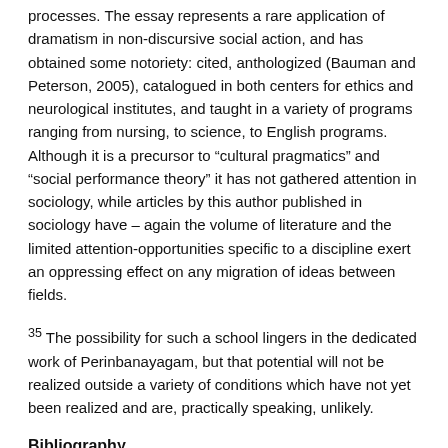processes. The essay represents a rare application of dramatism in non-discursive social action, and has obtained some notoriety: cited, anthologized (Bauman and Peterson, 2005), catalogued in both centers for ethics and neurological institutes, and taught in a variety of programs ranging from nursing, to science, to English programs. Although it is a precursor to “cultural pragmatics” and “social performance theory” it has not gathered attention in sociology, while articles by this author published in sociology have – again the volume of literature and the limited attention-opportunities specific to a discipline exert an oppressing effect on any migration of ideas between fields.
35 The possibility for such a school lingers in the dedicated work of Perinbanayagam, but that potential will not be realized outside a variety of conditions which have not yet been realized and are, practically speaking, unlikely.
Bibliography
Adams, Bert N. and R. A. Sydie, 2001. Sociological Theory. Sage Publications, Inc:Thousand Oaks, CA: Pine Forge Press.
Adams, Bert N. and R. A. Sydie, 2002. Contemporary Sociological Theory. Sage Publications...